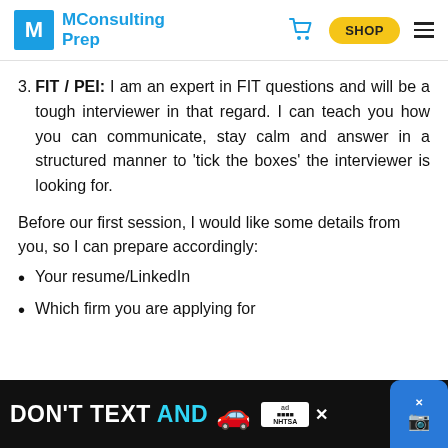MConsulting Prep | SHOP
3. FIT / PEI: I am an expert in FIT questions and will be a tough interviewer in that regard. I can teach you how you can communicate, stay calm and answer in a structured manner to 'tick the boxes' the interviewer is looking for.
Before our first session, I would like some details from you, so I can prepare accordingly:
Your resume/LinkedIn
Which firm you are applying for
[Figure (screenshot): Advertisement banner: 'DON'T TEXT AND' with car emoji and NHTSA badge]